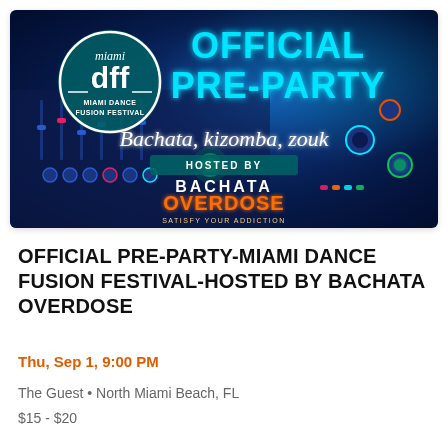[Figure (photo): Event promotional banner for Official Pre-Party Miami Dance Fusion Festival hosted by Bachata Overdose. Features a DJ mixing board with blue LED lighting, Miami DFF logo (Miami Dance Fusion Festival) on the left in a teal circle, 'OFFICIAL PRE-PARTY' in large cyan block letters top right, cursive text 'Bachata, kizomba, zouk', 'HOSTED BY' in a teal banner, and 'BACHATA OVERDOSE' logo in orange with tagline 'SATISFY YOUR ADDICTION'.]
OFFICIAL PRE-PARTY-MIAMI DANCE FUSION FESTIVAL-HOSTED BY BACHATA OVERDOSE
Thu, Sep 1, 9:00 PM
The Guest • North Miami Beach, FL
$15 - $20